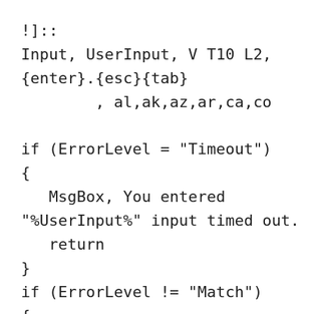!]::
Input, UserInput, V T10 L2,
{enter}.{esc}{tab}
        , al,ak,az,ar,ca,co

if (ErrorLevel = "Timeout")
{
   MsgBox, You entered
"%UserInput%" input timed out.
   return
}
if (ErrorLevel != "Match")
{
   Send, {backspace 2}
   MsgBox, "%UserInput%" is not a
state abbreviation